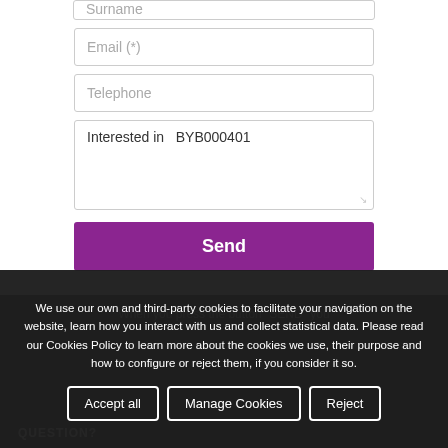[Figure (screenshot): Partially visible form input field for Surname at top of page]
[Figure (screenshot): Form input field labeled Email (*)]
[Figure (screenshot): Form input field labeled Telephone]
[Figure (screenshot): Textarea containing text: Interested in  BYB000401]
[Figure (screenshot): Send button (purple background, white text)]
When you press the button "SEND" you
We use our own and third-party cookies to facilitate your navigation on the website, learn how you interact with us and collect statistical data. Please read our Cookies Policy to learn more about the cookies we use, their purpose and how to configure or reject them, if you consider it so.
Accept all   Manage Cookies   Reject
QUESTION?